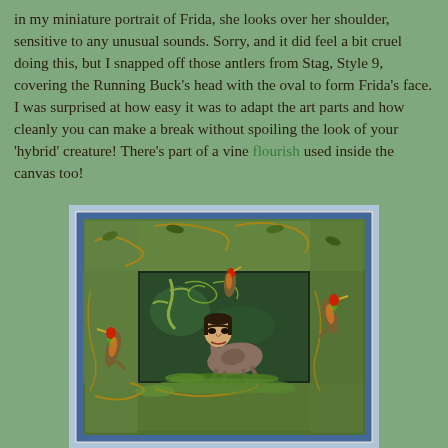in my miniature portrait of Frida, she looks over her shoulder, sensitive to any unusual sounds. Sorry, and it did feel a bit cruel doing this, but I snapped off those antlers from Stag, Style 9, covering the Running Buck's head with the oval to form Frida's face. I was surprised at how easy it was to adapt the art parts and how cleanly you can make a break without spoiling the look of your 'hybrid' creature! There's part of a vine flourish used inside the canvas too!
[Figure (photo): A decorative shadow box frame with painted vine and bird motifs. Inside the frame is a miniature artwork showing a deer-bodied figure with Frida Kahlo's face, colorful woodpecker birds on the frame edges, and painted foliage backgrounds.]